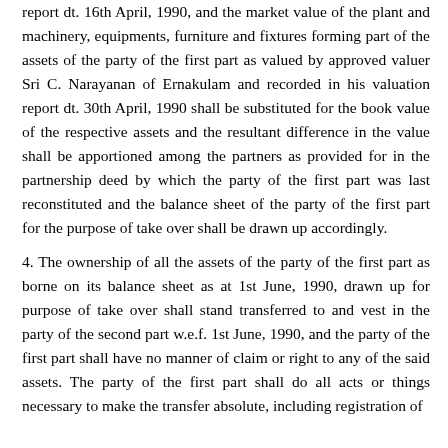report dt. 16th April, 1990, and the market value of the plant and machinery, equipments, furniture and fixtures forming part of the assets of the party of the first part as valued by approved valuer Sri C. Narayanan of Ernakulam and recorded in his valuation report dt. 30th April, 1990 shall be substituted for the book value of the respective assets and the resultant difference in the value shall be apportioned among the partners as provided for in the partnership deed by which the party of the first part was last reconstituted and the balance sheet of the party of the first part for the purpose of take over shall be drawn up accordingly.
4. The ownership of all the assets of the party of the first part as borne on its balance sheet as at 1st June, 1990, drawn up for purpose of take over shall stand transferred to and vest in the party of the second part w.e.f. 1st June, 1990, and the party of the first part shall have no manner of claim or right to any of the said assets. The party of the first part shall do all acts or things necessary to make the transfer absolute, including registration of